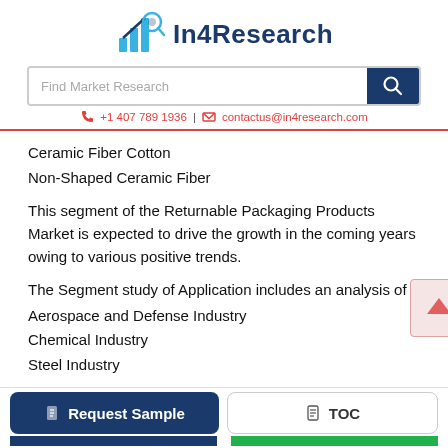In4Research
Find Market Research
+1 407 789 1936 | contactus@in4research.com
Ceramic Fiber Cotton
Non-Shaped Ceramic Fiber
This segment of the Returnable Packaging Products Market is expected to drive the growth in the coming years owing to various positive trends.
The Segment study of Application includes an analysis of
Aerospace and Defense Industry
Chemical Industry
Steel Industry
Request Sample | TOC